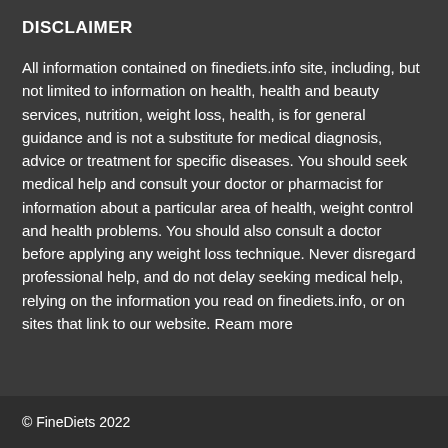DISCLAIMER
All information contained on finediets.info site, including, but not limited to information on health, health and beauty services, nutrition, weight loss, health, is for general guidance and is not a substitute for medical diagnosis, advice or treatment for specific diseases. You should seek medical help and consult your doctor or pharmacist for information about a particular area of health, weight control and health problems. You should also consult a doctor before applying any weight loss technique. Never disregard professional help, and do not delay seeking medical help, relying on the information you read on finediets.info, or on sites that link to our website. Ream more
© FineDiets 2022